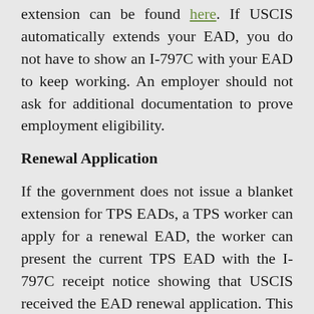extension can be found here. If USCIS automatically extends your EAD, you do not have to show an I-797C with your EAD to keep working. An employer should not ask for additional documentation to prove employment eligibility.
Renewal Application
If the government does not issue a blanket extension for TPS EADs, a TPS worker can apply for a renewal EAD, the worker can present the current TPS EAD with the I-797C receipt notice showing that USCIS received the EAD renewal application. This document combination is valid for 180 days after the original EAD